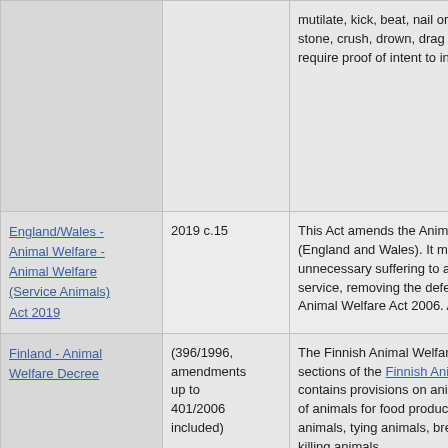| Legislation | Citation | Description |
| --- | --- | --- |
| [truncated top row] |  | mutilate, kick, beat, nail or othe... stone, crush, drown, drag or asp... require proof of intent to inflict... |
| England/Wales - Animal Welfare - Animal Welfare (Service Animals) Act 2019 | 2019 c.15 | This Act amends the Animal W... (England and Wales). It makes... unnecessary suffering to a serv... service, removing the defence t... Animal Welfare Act 2006. Also... |
| Finland - Animal Welfare Decree | (396/1996, amendments up to 401/2006 included) | The Finnish Animal Welfare De... sections of the Finnish Animal W... contains provisions on animal p... of animals for food production,... animals, tying animals, breedin... killing animals. |
| FL - Cruel Confinement - § 21. Limiting Cruel | FL CONST Art. 10 § 21 | This ballot proposal, adopted in... 2008, addresses the inhumane... specifically, pregnant pigs. The... |